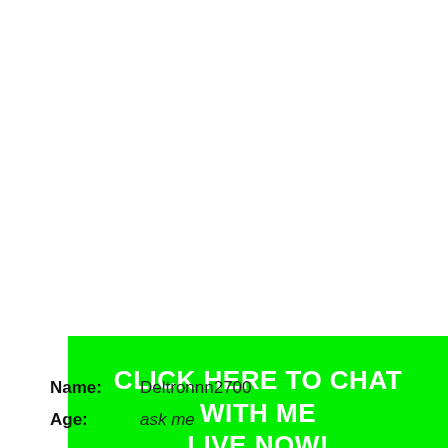[Figure (other): Large green button with bold white text reading CLICK HERE TO CHAT WITH ME LIVE NOW!]
Name: Deltronnn2700
Age: ask me